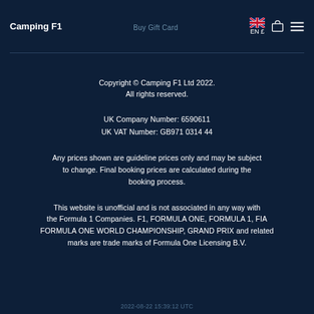Camping F1 | Buy Gift Card | EN £
Copyright © Camping F1 Ltd 2022.
All rights reserved.
UK Company Number: 6590611
UK VAT Number: GB971 0314 44
Any prices shown are guideline prices only and may be subject to change. Final booking prices are calculated during the booking process.
This website is unofficial and is not associated in any way with the Formula 1 Companies. F1, FORMULA ONE, FORMULA 1, FIA FORMULA ONE WORLD CHAMPIONSHIP, GRAND PRIX and related marks are trade marks of Formula One Licensing B.V.
2022-08-22 15:39:12 UTC